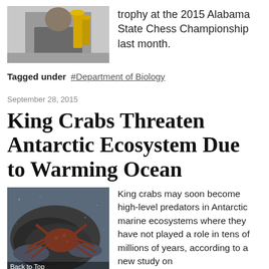[Figure (photo): Person holding a trophy at a chess championship]
trophy at the 2015 Alabama State Chess Championship last month.
Tagged under  #Department of Biology
September 28, 2015
King Crabs Threaten Antarctic Ecosystem Due to Warming Ocean
[Figure (photo): King crab on ocean floor - Back to Top]
King crabs may soon become high-level predators in Antarctic marine ecosystems where they have not played a role in tens of millions of years, according to a new study on
which UAB researchers worked in conjunction with other